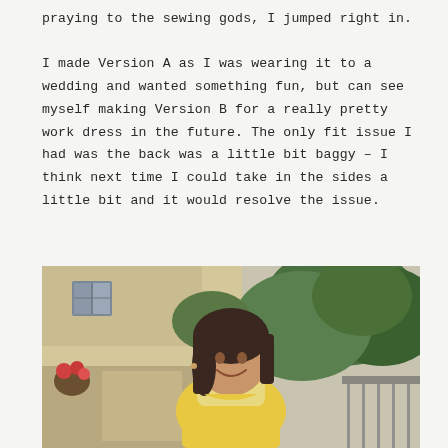praying to the sewing gods, I jumped right in.

I made Version A as I was wearing it to a wedding and wanted something fun, but can see myself making Version B for a really pretty work dress in the future. The only fit issue I had was the back was a little bit baggy – I think next time I could take in the sides a little bit and it would resolve the issue.
[Figure (photo): A smiling woman with long dark hair wearing a yellow dress, photographed outdoors in a garden or park setting with green trees and stone/brick architecture in the background.]